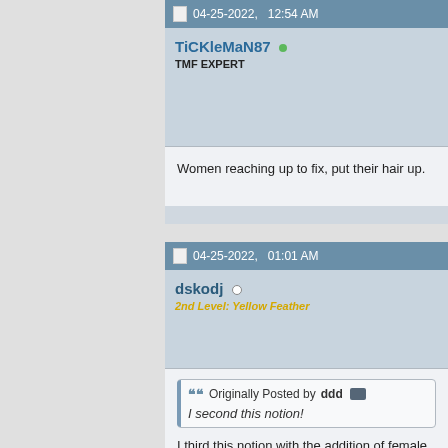04-25-2022, 12:54 AM
TiCKleMaN87 • TMF EXPERT
Women reaching up to fix, put their hair up.
04-25-2022, 01:01 AM
dskodj ○ 2nd Level: Yellow Feather
Originally Posted by ddd
I second this notion!
I third this notion with the addition of female b